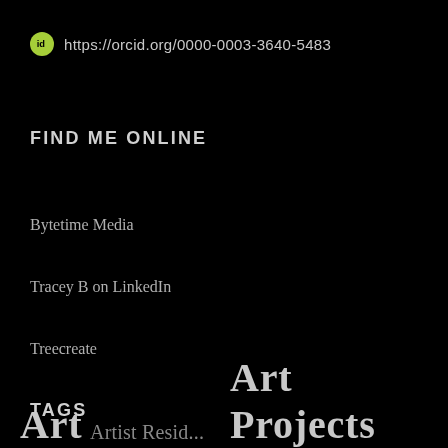https://orcid.org/0000-0003-3640-5483
FIND ME ONLINE
Bytetime Media
Tracey B on LinkedIn
Treecreate
TAGS
Art  Artist Resid...  Art Projects